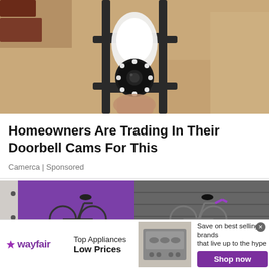[Figure (photo): Close-up photo of a security camera bulb installed inside a black metal lantern fixture mounted on a textured stucco wall]
Homeowners Are Trading In Their Doorbell Cams For This
Camerca | Sponsored
[Figure (photo): Two bicycles shown side by side - one against a purple door, one against a grey wall background]
[Figure (infographic): Wayfair advertisement banner: Top Appliances Low Prices, Save on best selling brands that live up to the hype, Shop now button]